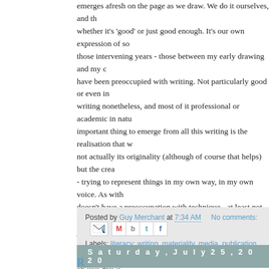emerges afresh on the page as we draw. We do it ourselves, and the whether it's 'good' or just good enough. It's our own expression of so those intervening years - those between my early drawing and my c have been preoccupied with writing. Not particularly good or even in writing nonetheless, and most of it professional or academic in natu important thing to emerge from all this writing is the realisation that w not actually its originality (although of course that helps) but the crea - trying to represent things in my own way, in my own voice. As with doesn't have a preoccupation with technique - at least not in a self-c just constantly refining itself. And of course it refines itself in the ligh quite the same as saying it's all imitation, but I think it always draws might not be sure exactly what that is. The word expression seems were to write another book that would be a driving theme. Writing - t expression or something like that. Even in writing that it would be pe drawing on something.
Posted by Guy Merchant at 7:34 AM   No comments:   Labels: literacy; writing, materiality, media, publication, writing
Saturday, July 25, 2020
Rudewriting